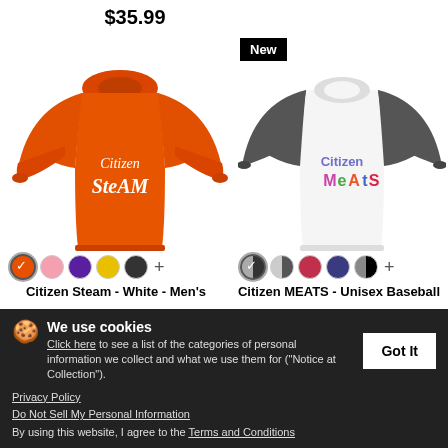$35.99
[Figure (photo): Orange long sleeve t-shirt with 'Citizen SteAM' white text logo]
[Figure (photo): White/gray baseball raglan t-shirt with 'Citizen MEAtS' colorful text logo, 'New' badge]
Citizen Steam - White - Men's Long Sleeve T-Shirt
$25.99
Citizen MEATS - Unisex Baseball T-Shirt
$28.49
We use cookies
Click here to see a list of the categories of personal information we collect and what we use them for ("Notice at Collection").
Privacy Policy
Do Not Sell My Personal Information
By using this website, I agree to the Terms and Conditions
[Figure (photo): Partial view of dark t-shirt with 'Citizen' text, 'New' badge visible]